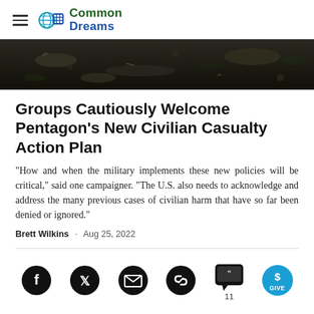Common Dreams
[Figure (photo): Dark textured background image showing debris or foliage, spanning the width of the page]
Groups Cautiously Welcome Pentagon's New Civilian Casualty Action Plan
"How and when the military implements these new policies will be critical," said one campaigner. "The U.S. also needs to acknowledge and address the many previous cases of civilian harm that have so far been denied or ignored."
Brett Wilkins · Aug 25, 2022